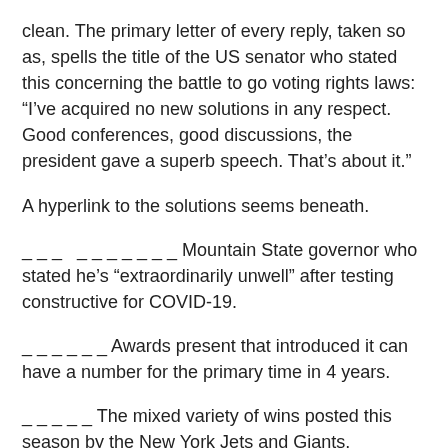clean. The primary letter of every reply, taken so as, spells the title of the US senator who stated this concerning the battle to go voting rights laws: “I’ve acquired no new solutions in any respect. Good conferences, good discussions, the president gave a superb speech. That’s about it.”
A hyperlink to the solutions seems beneath.
_ _ _   _ _ _ _ _ _ _ Mountain State governor who stated he’s “extraordinarily unwell” after testing constructive for COVID-19.
_ _ _ _ _ _ _ Awards present that introduced it can have a number for the primary time in 4 years.
_ _ _ _ _  The mixed variety of wins posted this season by the New York Jets and Giants.